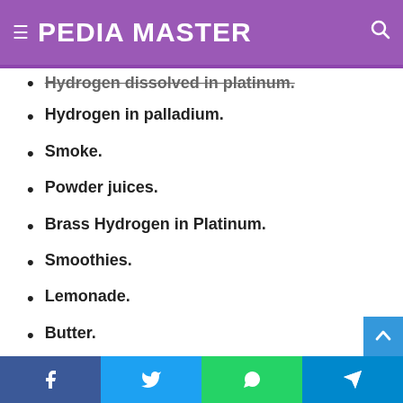PEDIA MASTER
Hydrogen dissolved in platinum.
Hydrogen in palladium.
Smoke.
Powder juices.
Brass Hydrogen in Platinum.
Smoothies.
Lemonade.
Butter.
Mercury in silver.
Metal with bubbles.
Naphthalene in the air.
Facebook Twitter WhatsApp Telegram